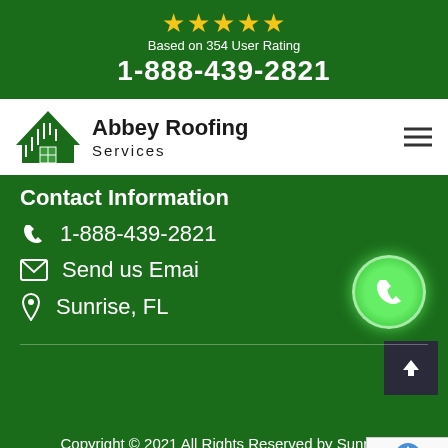[Figure (infographic): Five gold stars rating]
Based on 354 User Rating
1-888-439-2821
[Figure (logo): Abbey Roofing Services logo with green house/roof icon]
Contact Information
1-888-439-2821
Send us Emai
Sunrise, FL
Copyright © 2021 All Rights Reserved by Sunrise Roofing Services.